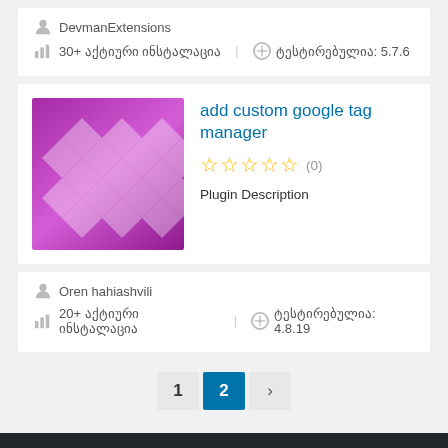DevmanExtensions
30+ აქტიური ინსტალაცია   ტესტირებულია: 5.7.6
[Figure (illustration): Purple/magenta plugin thumbnail with diamond pattern overlay]
add custom google tag manager
☆☆☆☆☆ (0)
Plugin Description
Oren hahiashvili
20+ აქტიური ინსტალაცია   ტესტირებულია: 4.8.19
1  2  ›